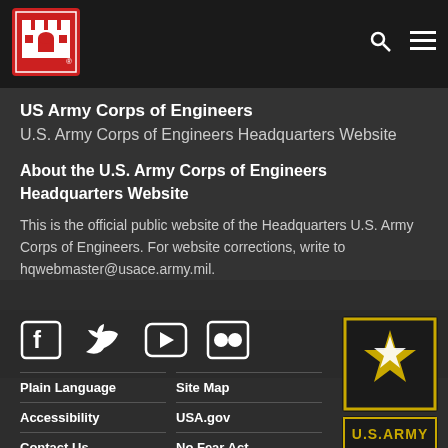[Figure (logo): US Army Corps of Engineers castle logo in red square border]
US Army Corps of Engineers
U.S. Army Corps of Engineers Headquarters Website
About the U.S. Army Corps of Engineers Headquarters Website
This is the official public website of the Headquarters U.S. Army Corps of Engineers. For website corrections, write to hqwebmaster@usace.army.mil.
[Figure (logo): Social media icons: Facebook, Twitter, YouTube, Flickr]
[Figure (logo): U.S. Army star logo with U.S.ARMY text]
Plain Language
Site Map
Accessibility
USA.gov
Contact Us
No Fear Act
IG
Quality Facts
EEO & SHARP
RSS